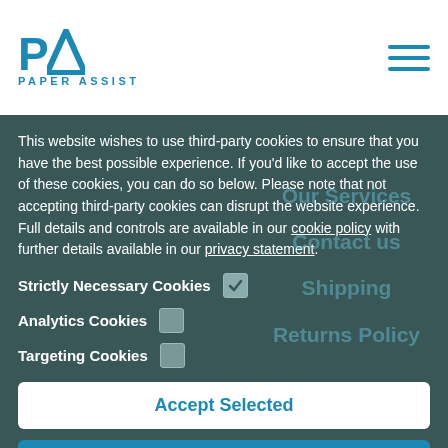[Figure (logo): Paper Assist logo with 'PA' in blue and 'PAPER ASSIST' text below]
This website wishes to use third-party cookies to ensure that you have the best possible experience. If you'd like to accept the use of these cookies, you can do so below. Please note that not accepting third-party cookies can disrupt the website experience. Full details and controls are available in our cookie policy with further details available in our privacy statement.
Strictly Necessary Cookies ☑
Analytics Cookies ☐
Targeting Cookies ☐
Accept Selected
Accept All